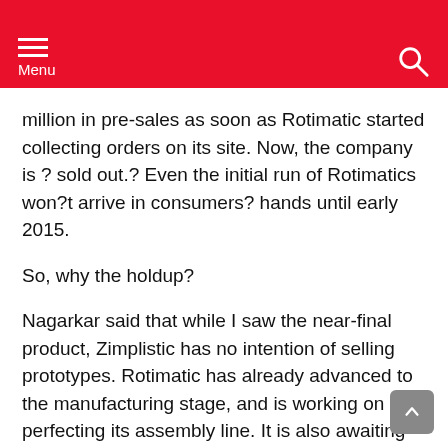Menu
million in pre-sales as soon as Rotimatic started collecting orders on its site. Now, the company is ? sold out.? Even the initial run of Rotimatics won?t arrive in consumers? hands until early 2015.
So, why the holdup?
Nagarkar said that while I saw the near-final product, Zimplistic has no intention of selling prototypes. Rotimatic has already advanced to the manufacturing stage, and is working on perfecting its assembly line. It is also awaiting U.S. certification (something all appliances in the country must get).